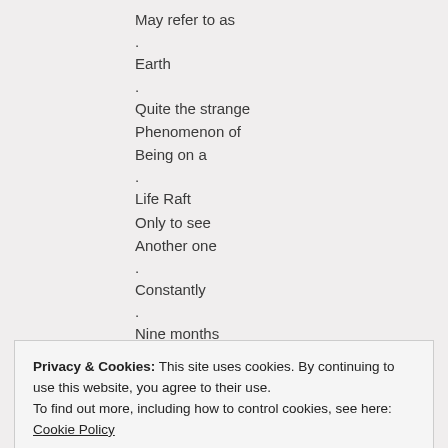May refer to as
.
Earth
.
Quite the strange
Phenomenon of
Being on a
.
Life Raft
Only to see
Another one
.
Constantly
.
Nine months
Away as a “New”
Life Raft
Privacy & Cookies: This site uses cookies. By continuing to use this website, you agree to their use.
To find out more, including how to control cookies, see here: Cookie Policy
Close and accept
Having been on